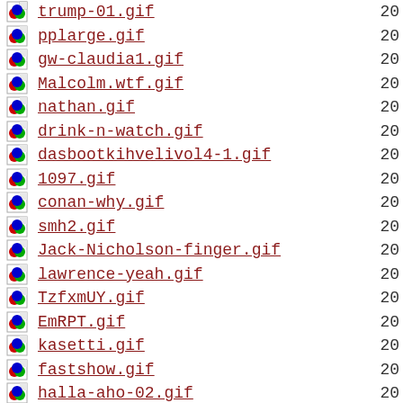trump-01.gif  20
pplarge.gif  20
gw-claudia1.gif  20
Malcolm.wtf.gif  20
nathan.gif  20
drink-n-watch.gif  20
dasbootkihvelivol4-1.gif  20
1097.gif  20
conan-why.gif  20
smh2.gif  20
Jack-Nicholson-finger.gif  20
lawrence-yeah.gif  20
TzfxmUY.gif  20
EmRPT.gif  20
kasetti.gif  20
fastshow.gif  20
halla-aho-02.gif  20
gw-clint.gif  20